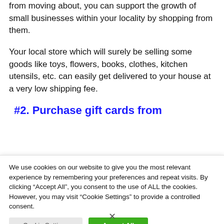from moving about, you can support the growth of small businesses within your locality by shopping from them.
Your local store which will surely be selling some goods like toys, flowers, books, clothes, kitchen utensils, etc. can easily get delivered to your house at a very low shipping fee.
#2. Purchase gift cards from
We use cookies on our website to give you the most relevant experience by remembering your preferences and repeat visits. By clicking “Accept All”, you consent to the use of ALL the cookies. However, you may visit “Cookie Settings” to provide a controlled consent.